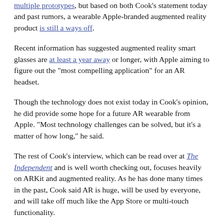multiple prototypes, but based on both Cook's statement today and past rumors, a wearable Apple-branded augmented reality product is still a ways off.
Recent information has suggested augmented reality smart glasses are at least a year away or longer, with Apple aiming to figure out the "most compelling application" for an AR headset.
Though the technology does not exist today in Cook's opinion, he did provide some hope for a future AR wearable from Apple. "Most technology challenges can be solved, but it's a matter of how long," he said.
The rest of Cook's interview, which can be read over at The Independent and is well worth checking out, focuses heavily on ARKit and augmented reality. As he has done many times in the past, Cook said AR is huge, will be used by everyone, and will take off much like the App Store or multi-touch functionality.
Related Roundup: Apple Glasses
Related Forum: Apple Glasses, AR and VR